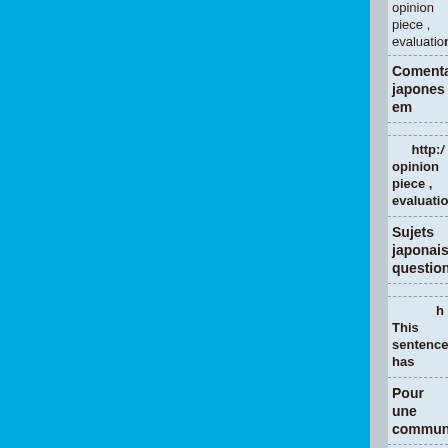[Figure (other): Large solid cyan/blue rectangle occupying the left portion of the page]
opinion piece , evaluation
Comentarios japones em
http:
opinion piece , evaluation
Sujets japonais, questions,
h
This sentences has
Pour une communicatio
http://b
It offers Japanes
A ultima hist
http: